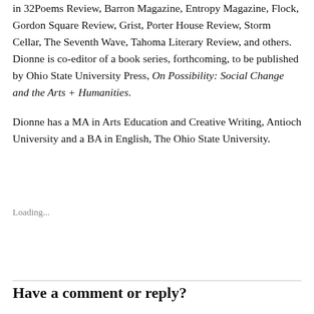in 32Poems Review, Barron Magazine, Entropy Magazine, Flock, Gordon Square Review, Grist, Porter House Review, Storm Cellar, The Seventh Wave, Tahoma Literary Review, and others. Dionne is co-editor of a book series, forthcoming, to be published by Ohio State University Press, On Possibility: Social Change and the Arts + Humanities.
Dionne has a MA in Arts Education and Creative Writing, Antioch University and a BA in English, The Ohio State University.
Loading...
Have a comment or reply?